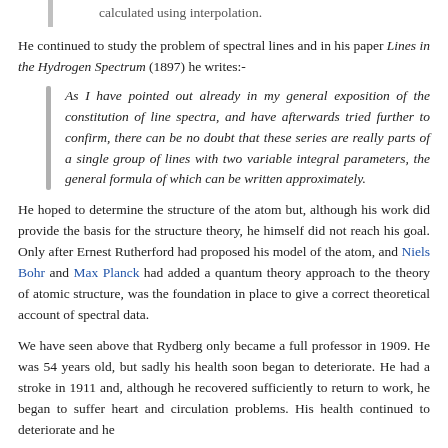calculated using interpolation.
He continued to study the problem of spectral lines and in his paper Lines in the Hydrogen Spectrum (1897) he writes:-
As I have pointed out already in my general exposition of the constitution of line spectra, and have afterwards tried further to confirm, there can be no doubt that these series are really parts of a single group of lines with two variable integral parameters, the general formula of which can be written approximately.
He hoped to determine the structure of the atom but, although his work did provide the basis for the structure theory, he himself did not reach his goal. Only after Ernest Rutherford had proposed his model of the atom, and Niels Bohr and Max Planck had added a quantum theory approach to the theory of atomic structure, was the foundation in place to give a correct theoretical account of spectral data.
We have seen above that Rydberg only became a full professor in 1909. He was 54 years old, but sadly his health soon began to deteriorate. He had a stroke in 1911 and, although he recovered sufficiently to return to work, he began to suffer heart and circulation problems. His health continued to deteriorate and he